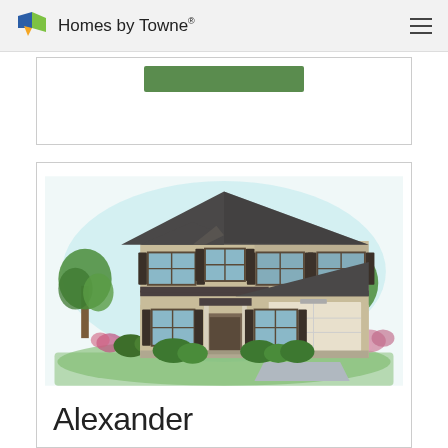Homes by Towne
[Figure (illustration): Architectural illustration of the Alexander home model — a two-story brick house with dark gabled roof, attached two-car garage, covered front entry, multiple windows with shutters, and landscaping with trees and shrubs]
Alexander
sq. ft.: 3,524